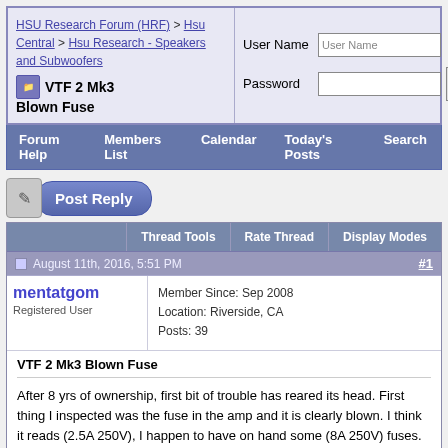HSU Research Forum (HRF) > Hsu Central > Hsu Research - Speakers and Subwoofers > VTF 2 Mk3 Blown Fuse
VTF 2 Mk3 Blown Fuse
Forum Help  Members List  Calendar  Today's Posts  Search
Post Reply
Thread Tools  Rate Thread  Display Modes
August 11th, 2016, 5:51 PM  #1
mentatgom
Registered User
Member Since: Sep 2008
Location: Riverside, CA
Posts: 39
VTF 2 Mk3 Blown Fuse
After 8 yrs of ownership, first bit of trouble has reared its head. First thing I inspected was the fuse in the amp and it is clearly blown. I think it reads (2.5A 250V), I happen to have on hand some (8A 250V) fuses. If I am reading (2.5A 250V) correctly, should I just order some of those and not put in my (8A 250V) ?
Thanks